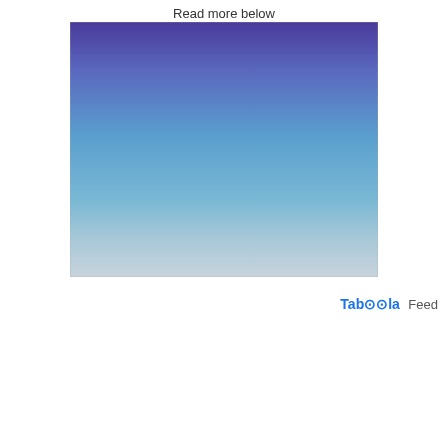Read more below
[Figure (photo): Large rectangular image showing a sky gradient from purple/blue at the top to light blue-grey at the bottom, resembling a clear sky with haze near the horizon.]
[Figure (logo): Taboola Feed logo with stylized text 'Taboola' in bold blue with a circular 'oo' element, followed by 'Feed' in grey.]
[Figure (photo): Bottom strip showing a partial red logo on the left, a crowd/concert scene in the middle, and a scroll-up button on the right. An advertisement banner shows 'CHECK IT OUT NOW!' button and a 'KOOTENAY CALENDAR' badge over a concert crowd background.]